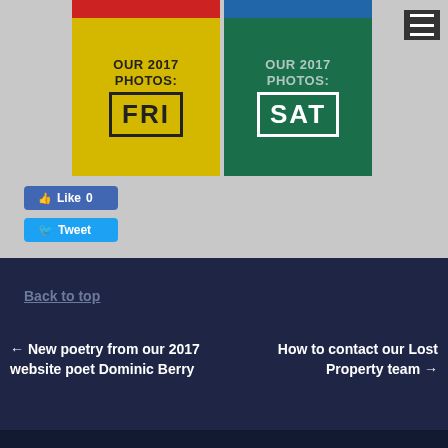[Figure (illustration): Two promotional image blocks side by side: left block is yellow with 'OUR 2017 PHOTOS: FRI' in black, right block is dark green with 'OUR 2017 PHOTOS: SAT' in white. Red and teal bars at the top. A hamburger menu icon in top right corner.]
[Figure (screenshot): Facebook Like button showing 'Like 0' and Twitter Tweet button]
Back to top
← New poetry from our 2017 website poet Dominic Berry
How to contact our Lost Property team →